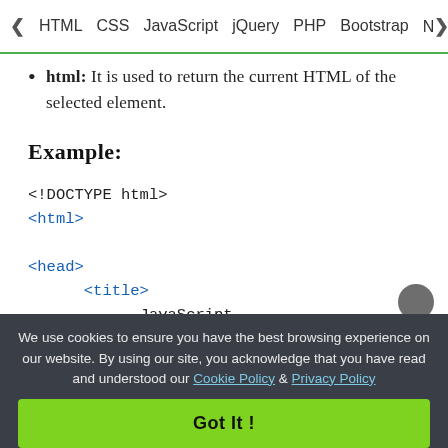< HTML  CSS  JavaScript  jQuery  PHP  Bootstrap  N>
html: It is used to return the current HTML of the selected element.
Example:
[Figure (screenshot): Code block showing HTML boilerplate: <!DOCTYPE html>, <html>, <head>, <title>, JavaScript, </title>]
We use cookies to ensure you have the best browsing experience on our website. By using our site, you acknowledge that you have read and understood our Cookie Policy & Privacy Policy
Got It !